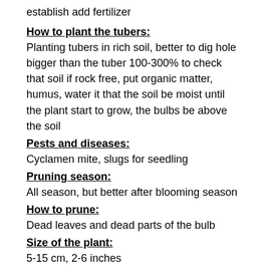establish add fertilizer
How to plant the tubers:
Planting tubers in rich soil, better to dig hole bigger than the tuber 100-300% to check that soil if rock free, put organic matter, humus, water it that the soil be moist until the plant start to grow, the bulbs be above the soil
Pests and diseases:
Cyclamen mite, slugs for seedling
Pruning season:
All season, but better after blooming season
How to prune:
Dead leaves and dead parts of the bulb
Size of the plant:
5-15 cm, 2-6 inches